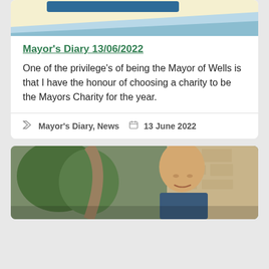[Figure (illustration): Top portion of a card with decorative banner graphic in yellow/cream and blue tones, partially cropped at top]
Mayor's Diary 13/06/2022
One of the privilege's of being the Mayor of Wells is that I have the honour of choosing a charity to be the Mayors Charity for the year.
Mayor's Diary, News   13 June 2022
[Figure (photo): Photograph of a bald man smiling, standing near stone architecture, with trees visible in background, partially cropped]